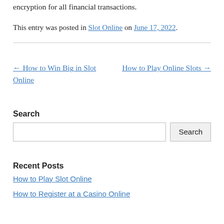encryption for all financial transactions.
This entry was posted in Slot Online on June 17, 2022.
← How to Win Big in Slot Online
How to Play Online Slots →
Search
Recent Posts
How to Play Slot Online
How to Register at a Casino Online